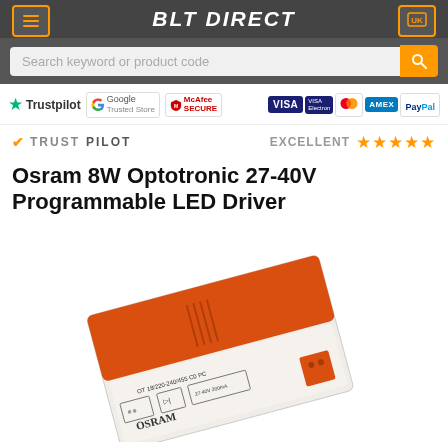BLT Direct
Search keyword or product code
[Figure (logo): Trust badges row: Trustpilot, Google Trusted Store, McAfee SECURE, VISA, VISA Electron, Mastercard, AMEX, PayPal]
TRUSTPILOT   EXCELLENT ★★★★★
Osram 8W Optotronic 27-40V Programmable LED Driver
[Figure (photo): Osram 8W Optotronic 27-40V Programmable LED Driver product photo showing orange and white LED driver unit]